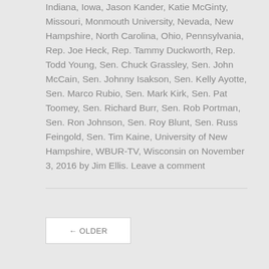Indiana, Iowa, Jason Kander, Katie McGinty, Missouri, Monmouth University, Nevada, New Hampshire, North Carolina, Ohio, Pennsylvania, Rep. Joe Heck, Rep. Tammy Duckworth, Rep. Todd Young, Sen. Chuck Grassley, Sen. John McCain, Sen. Johnny Isakson, Sen. Kelly Ayotte, Sen. Marco Rubio, Sen. Mark Kirk, Sen. Pat Toomey, Sen. Richard Burr, Sen. Rob Portman, Sen. Ron Johnson, Sen. Roy Blunt, Sen. Russ Feingold, Sen. Tim Kaine, University of New Hampshire, WBUR-TV, Wisconsin on November 3, 2016 by Jim Ellis. Leave a comment
← OLDER